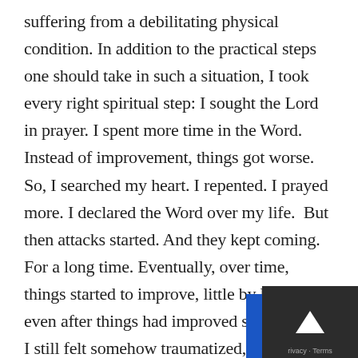suffering from a debilitating physical condition. In addition to the practical steps one should take in such a situation, I took every right spiritual step: I sought the Lord in prayer. I spent more time in the Word. Instead of improvement, things got worse. So, I searched my heart. I repented. I prayed more. I declared the Word over my life.  But then attacks started. And they kept coming. For a long time. Eventually, over time, things started to improve, little by little. But even after things had improved significantly, I still felt somehow traumatized, like I had been in a violent shipwreck at sea and was washed up on the shore still alive...but barely. I had climbed the mountain of myrrh through the night that Songs of Songs 4:6 speaks about: myrrh, an ancient biblical